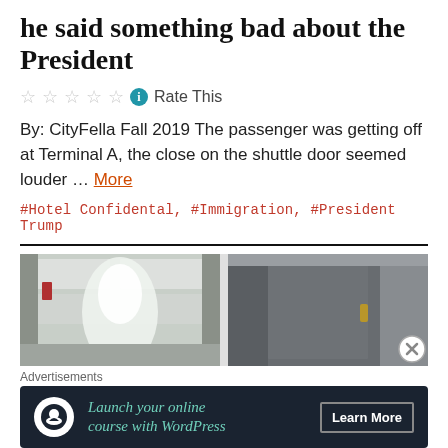he said something bad about the President
Rate This
By: CityFella Fall 2019 The passenger was getting off at Terminal A, the close on the shuttle door seemed louder … More
#Hotel Confidental, #Immigration, #President Trump
[Figure (photo): Two side-by-side interior corridor/hallway photos, possibly hotel or terminal.]
Advertisements
Launch your online course with WordPress — Learn More